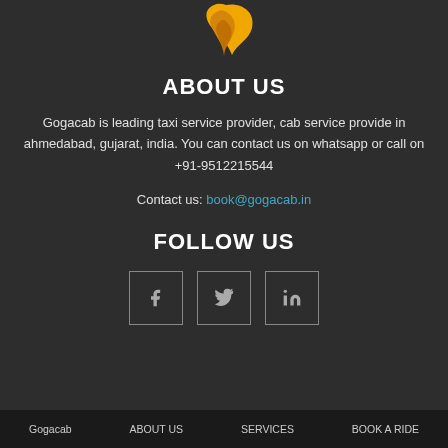[Figure (logo): Gogacab logo - orange/yellow stylized bird or flame shape on dark background]
ABOUT US
Gogacab is leading taxi service provider, cab service provide in ahmedabad, gujarat, india. You can contact us on whatsapp or call on +91-9512215544
Contact us: book@gogacab.in
FOLLOW US
[Figure (illustration): Three social media icon boxes (Facebook, Twitter/X, LinkedIn or similar) with small icons inside outlined squares]
Gogacab   ABOUT US   SERVICES   BOOK A RIDE